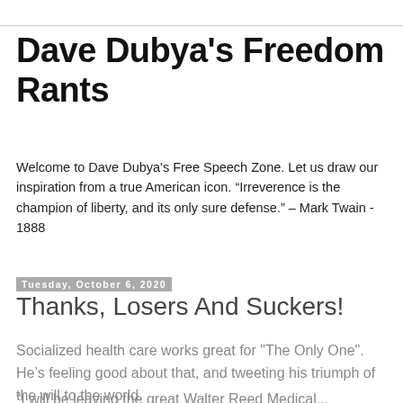Dave Dubya's Freedom Rants
Welcome to Dave Dubya's Free Speech Zone. Let us draw our inspiration from a true American icon. “Irreverence is the champion of liberty, and its only sure defense.” – Mark Twain - 1888
Tuesday, October 6, 2020
Thanks, Losers And Suckers!
Socialized health care works great for "The Only One". He’s feeling good about that, and tweeting his triumph of the will to the world.
"I will be leaving the great Walter Reed Medical...